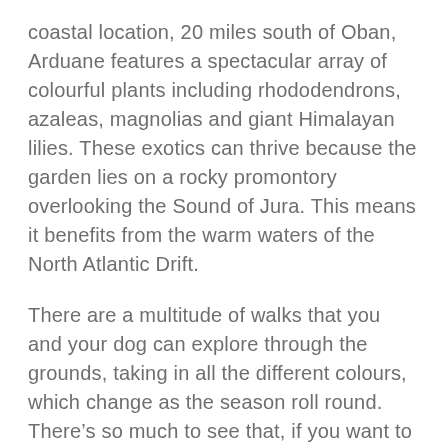coastal location, 20 miles south of Oban, Arduane features a spectacular array of colourful plants including rhododendrons, azaleas, magnolias and giant Himalayan lilies. These exotics can thrive because the garden lies on a rocky promontory overlooking the Sound of Jura. This means it benefits from the warm waters of the North Atlantic Drift.
There are a multitude of walks that you and your dog can explore through the grounds, taking in all the different colours, which change as the season roll round. There's so much to see that, if you want to walk the whole garden, you'll have to allow about two and a half hours. When you and your pooch have had your fill of plants, head to the Loch Melfort Hotel. On the doorstep, this is great place to visit for a coffee or bite to eat. It offers floor to ceiling windows and a sunny terrace from which you can take in the terrific